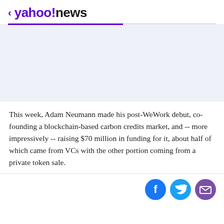< yahoo!news
[Figure (other): Advertisement placeholder — light gray-blue rectangle]
This week, Adam Neumann made his post-WeWork debut, co-founding a blockchain-based carbon credits market, and -- more impressively -- raising $70 million in funding for it, about half of which came from VCs with the other portion coming from a private token sale.
[Figure (infographic): Social sharing buttons: Facebook (blue circle), Twitter (light blue circle), Email/Mail (purple circle)]